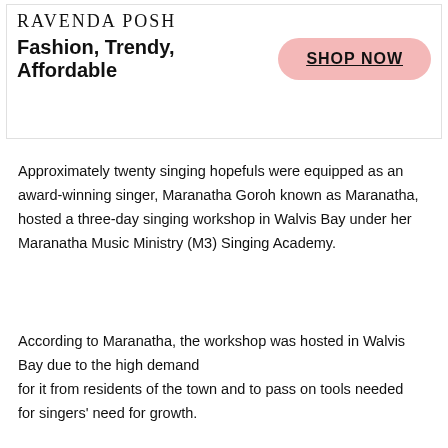[Figure (infographic): Advertisement banner for Ravenda Posh fashion brand with tagline 'Fashion, Trendy, Affordable' and a pink 'SHOP NOW' button]
Approximately twenty singing hopefuls were equipped as an award-winning singer, Maranatha Goroh known as Maranatha, hosted a three-day singing workshop in Walvis Bay under her Maranatha Music Ministry (M3) Singing Academy.
According to Maranatha, the workshop was hosted in Walvis Bay due to the high demand for it from residents of the town and to pass on tools needed for singers' need for growth.